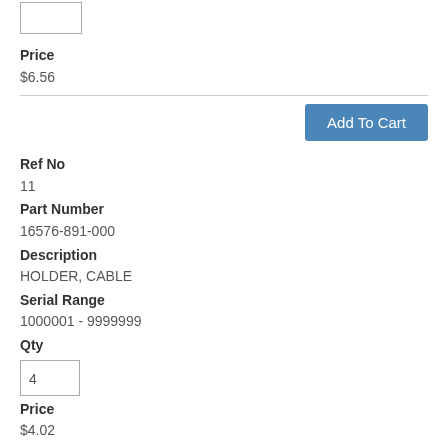Qty input box (top, partially visible)
Price
$6.56
Add To Cart
Ref No
11
Part Number
16576-891-000
Description
HOLDER, CABLE
Serial Range
1000001 - 9999999
Qty
4
Price
$4.02
Add To Cart
Ref No